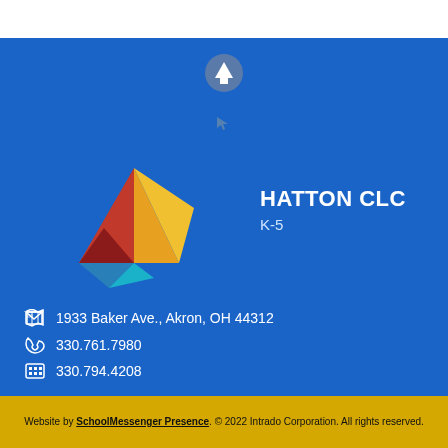[Figure (logo): Akron Public Schools logo with colorful triangle and text 'Akron Public Schools.']
HATTON CLC
K-5
1933 Baker Ave., Akron, OH 44312
330.761.7980
330.794.4208
Website by SchoolMessenger Presence. © 2022 Intrado Corporation. All rights reserved.